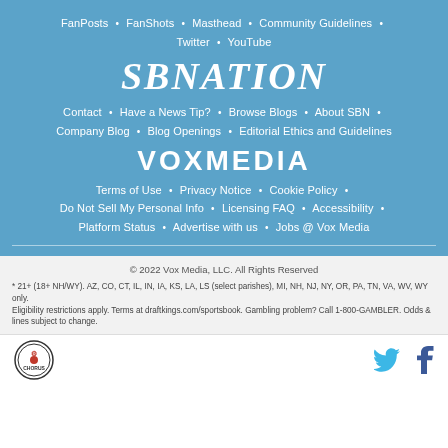FanPosts • FanShots • Masthead • Community Guidelines • Twitter • YouTube
SBNATION
Contact • Have a News Tip? • Browse Blogs • About SBN • Company Blog • Blog Openings • Editorial Ethics and Guidelines
VOXMEDIA
Terms of Use • Privacy Notice • Cookie Policy • Do Not Sell My Personal Info • Licensing FAQ • Accessibility • Platform Status • Advertise with us • Jobs @ Vox Media
© 2022 Vox Media, LLC. All Rights Reserved
* 21+ (18+ NH/WY). AZ, CO, CT, IL, IN, IA, KS, LA, LS (select parishes), MI, NH, NJ, NY, OR, PA, TN, VA, WV, WY only. Eligibility restrictions apply. Terms at draftkings.com/sportsbook. Gambling problem? Call 1-800-GAMBLER. Odds & lines subject to change.